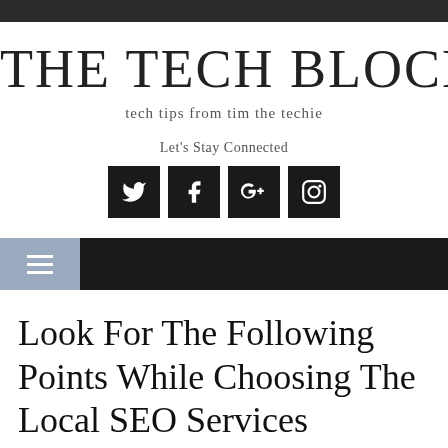THE TECH BLOCK
tech tips from tim the techie
Let's Stay Connected
[Figure (infographic): Four social media icon buttons (Twitter, Facebook, Google+, Instagram) displayed as white icons on black square backgrounds]
Look For The Following Points While Choosing The Local SEO Services